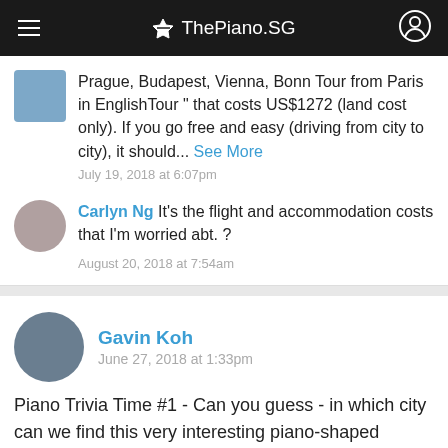ThePiano.SG
Prague, Budapest, Vienna, Bonn Tour from Paris in EnglishTour " that costs US$1272 (land cost only). If you go free and easy (driving from city to city), it should... See More
July 19, 2018 at 6:07pm
Carlyn Ng It's the flight and accommodation costs that I'm worried abt. ?
August 20, 2018 at 7:54am
Gavin Koh
June 27, 2018 at 1:33pm
Piano Trivia Time #1 - Can you guess - in which city can we find this very interesting piano-shaped building, which comes complete with glass violin staircase?
#general